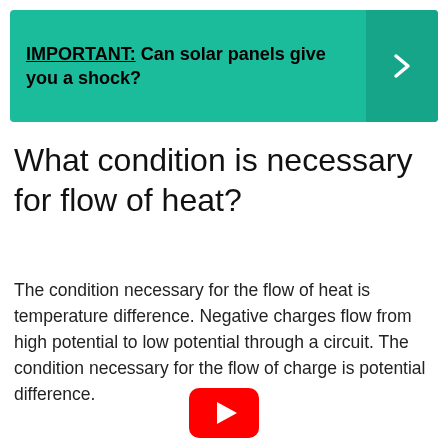[Figure (infographic): Teal/green banner with bold text: IMPORTANT: Can solar panels give you a shock? with a right-facing chevron arrow on the right side on a slightly darker teal background.]
What condition is necessary for flow of heat?
The condition necessary for the flow of heat is temperature difference. Negative charges flow from high potential to low potential through a circuit. The condition necessary for the flow of charge is potential difference.
[Figure (logo): YouTube play button logo (red rounded rectangle with white triangle)]